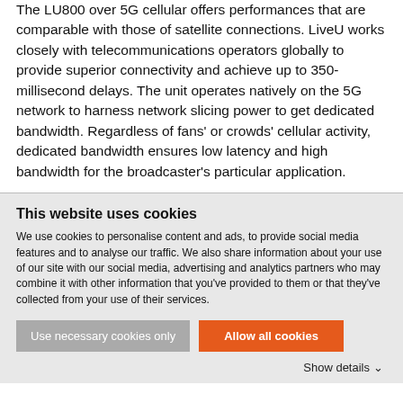The LU800 over 5G cellular offers performances that are comparable with those of satellite connections. LiveU works closely with telecommunications operators globally to provide superior connectivity and achieve up to 350-millisecond delays. The unit operates natively on the 5G network to harness network slicing power to get dedicated bandwidth. Regardless of fans' or crowds' cellular activity, dedicated bandwidth ensures low latency and high bandwidth for the broadcaster's particular application.
This website uses cookies
We use cookies to personalise content and ads, to provide social media features and to analyse our traffic. We also share information about your use of our site with our social media, advertising and analytics partners who may combine it with other information that you've provided to them or that they've collected from your use of their services.
Use necessary cookies only
Allow all cookies
Show details